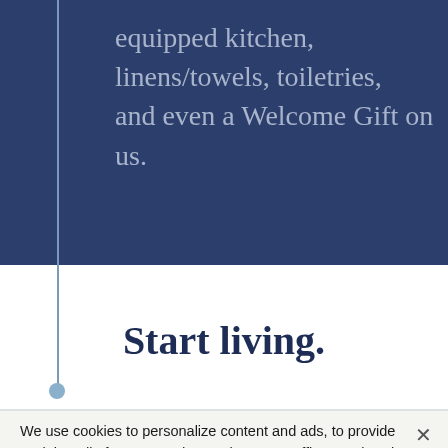equipped kitchen, linens/towels, toiletries, and even a Welcome Gift on us.
Start living.
We use cookies to personalize content and ads, to provide social media features and to analyze our traffic. We also share information about your use of our site with our social media, advertising and analytics partners. Learn more
Accept all cookies